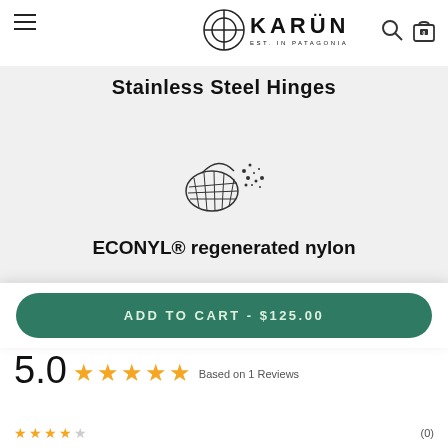KARÜN EST. IN PATAGONIA
Stainless Steel Hinges
[Figure (illustration): Icon of a fishing net releasing small particles, representing ECONYL regenerated nylon material]
ECONYL® regenerated nylon
5.0 ★★★★★ Based on 1 Reviews
ADD TO CART - $125.00